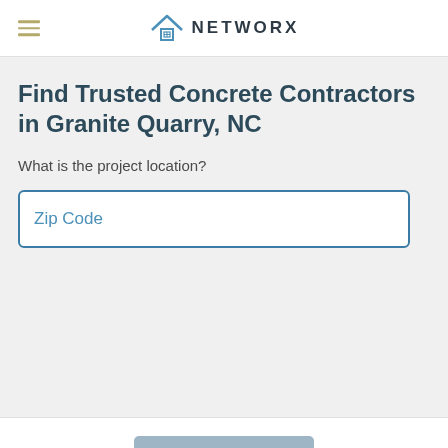NETWORX
Find Trusted Concrete Contractors in Granite Quarry, NC
What is the project location?
Zip Code
Next